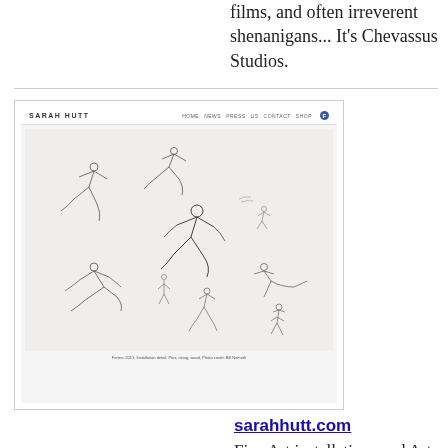films, and often irreverent shenanigans... It's Chevassus Studios.
[Figure (screenshot): Screenshot of sarahhutt.com website showing a navigation bar with logo 'SARAH HUTT' and links HOME, NEWS, PRESS, US, CONTACT, SHOP and a Facebook icon, with an artwork image below showing wire figure sketches of people in various poses on a light background, and a small caption at the bottom.]
sarahhutt.com
Fine Art installations and Art Consultancy